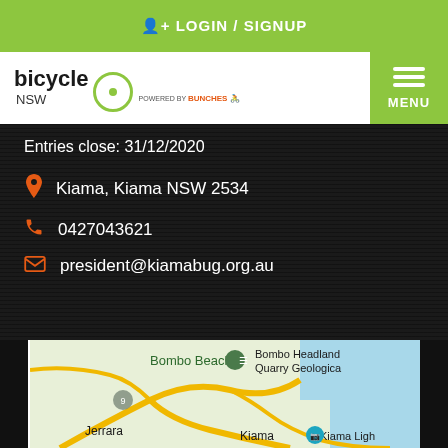LOGIN / SIGNUP
[Figure (logo): Bicycle NSW logo with circular icon and 'powered by bunches' text]
Entries close: 31/12/2020
Kiama, Kiama NSW 2534
0427043621
president@kiamabug.org.au
[Figure (map): Google Maps showing Kiama NSW area including Bombo Beach, Bombo Headland Quarry Geological site, Jerrara, and Kiama Lighthouse area]